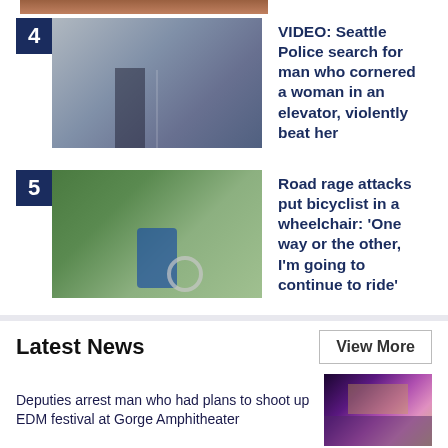[Figure (photo): Cropped top of an image, partially visible]
4 VIDEO: Seattle Police search for man who cornered a woman in an elevator, violently beat her
5 Road rage attacks put bicyclist in a wheelchair: 'One way or the other, I'm going to continue to ride'
Latest News
View More
Deputies arrest man who had plans to shoot up EDM festival at Gorge Amphitheater
[Figure (photo): Outdoor concert at Gorge Amphitheater with crowd and stage lights]
Deputies investigate deadly shooting near Granite Falls Sportsmen's Club
[Figure (photo): Close-up of police lights, red and blue]